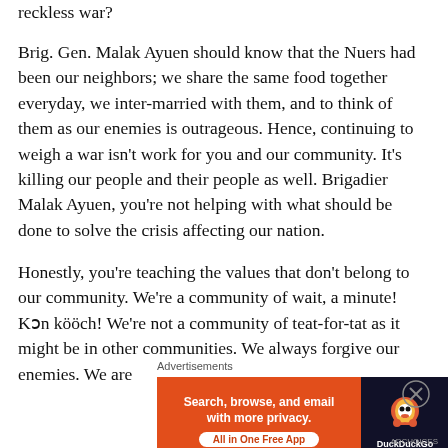reckless war?
Brig. Gen. Malak Ayuen should know that the Nuers had been our neighbors; we share the same food together everyday, we inter-married with them, and to think of them as our enemies is outrageous. Hence, continuing to weigh a war isn't work for you and our community. It's killing our people and their people as well. Brigadier Malak Ayuen, you're not helping with what should be done to solve the crisis affecting our nation.
Honestly, you're teaching the values that don't belong to our community. We're a community of wait, a minute! Kɔn kööch! We're not a community of teat-for-tat as it might be in other communities. We always forgive our enemies. We are
Advertisements
[Figure (other): DuckDuckGo advertisement banner: orange background with text 'Search, browse, and email with more privacy. All in One Free App' and DuckDuckGo duck logo on dark right panel]